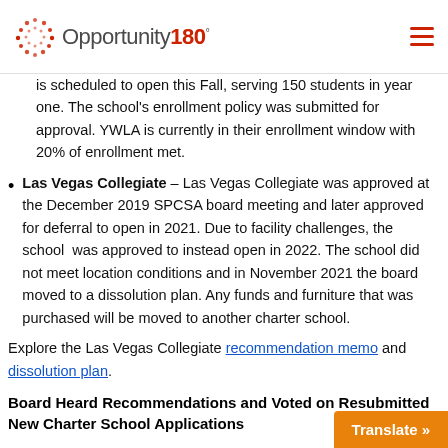Opportunity180°
is scheduled to open this Fall, serving 150 students in year one. The school's enrollment policy was submitted for approval. YWLA is currently in their enrollment window with 20% of enrollment met.
Las Vegas Collegiate – Las Vegas Collegiate was approved at the December 2019 SPCSA board meeting and later approved for deferral to open in 2021. Due to facility challenges, the school was approved to instead open in 2022. The school did not meet location conditions and in November 2021 the board moved to a dissolution plan. Any funds and furniture that was purchased will be moved to another charter school.
Explore the Las Vegas Collegiate recommendation memo and dissolution plan.
Board Heard Recommendations and Voted on Resubmitted New Charter School Applications